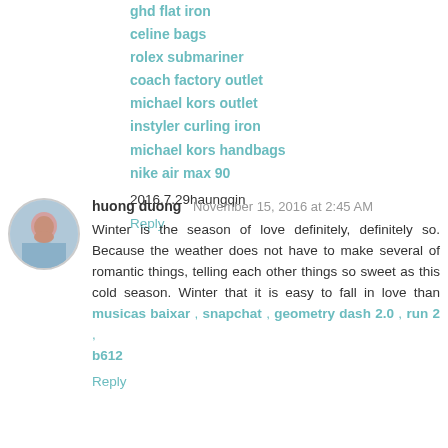ghd flat iron
celine bags
rolex submariner
coach factory outlet
michael kors outlet
instyler curling iron
michael kors handbags
nike air max 90
2016.7.29haungqin
Reply
huong duong  November 15, 2016 at 2:45 AM
Winter is the season of love definitely, definitely so. Because the weather does not have to make several of romantic things, telling each other things so sweet as this cold season. Winter that it is easy to fall in love than
musicas baixar , snapchat , geometry dash 2.0 , run 2 , b612
Reply